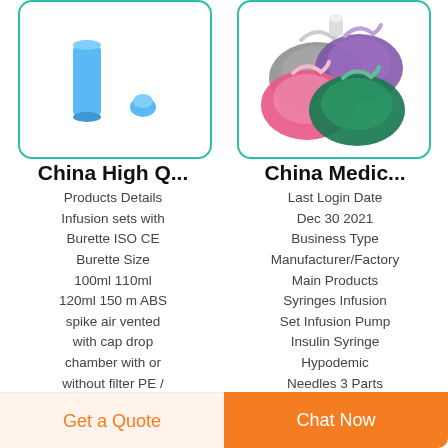[Figure (photo): Blue medical infusion set components on white background - a blue cylindrical tube and a small blue cap/connector]
[Figure (photo): Four colorful medical face masks (anesthesia/oxygen masks) in grey, purple, pink, and green colors arranged together]
China High Q...
China Medic...
Products Details Infusion sets with Burette ISO CE Burette Size 100ml 110ml 120ml 150 m ABS spike air vented with cap drop chamber with or without filter PE / ABS adjuster latex/latex free Y
Last Login Date Dec 30 2021 Business Type Manufacturer/Factory Main Products Syringes Infusion Set Infusion Pump Insulin Syringe Hypodemic Needles 3 Parts Disposable Luer Slip Syringe Wth
Get a Quote
Chat Now